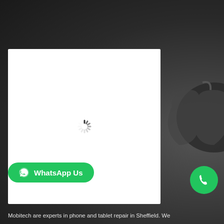[Figure (screenshot): Dark grey background with a faint Apple logo silhouette on the right side. A white rectangular card is overlaid on the left-center area containing a loading spinner in the middle. A green WhatsApp Us button appears at the bottom left, a green phone call button at the bottom right, and white footer text reading 'Mobitech are experts in phone and tablet repair in Sheffield. We...']
WhatsApp Us
Mobitech are experts in phone and tablet repair in Sheffield. We